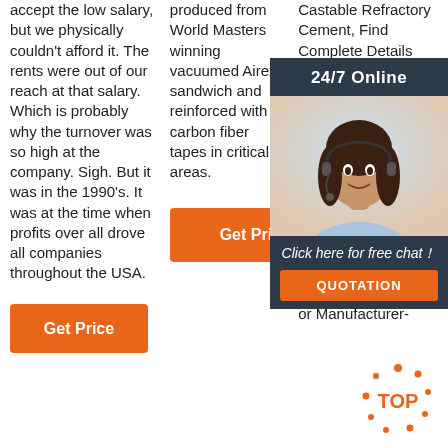accept the low salary, but we physically couldn't afford it. The rents were out of our reach at that salary. Which is probably why the turnover was so high at the company. Sigh. But it was in the 1990's. It was at the time when profits over all drove all companies throughout the USA.
produced from World Masters winning vacuumed Airex sandwich and reinforced with carbon fiber tapes in critical areas.
Castable Refractory Cement, Find Complete Details about High Temperature Alumina Refractory Castable Refractory Cement, Refractory High Alumina Cement Ca700 Of High Alumina Cement,High Alumina Cement Ca700 from Refractory Supplier or Manufacturer-
[Figure (infographic): 24/7 Online chat overlay panel with a female agent wearing a headset, 'Click here for free chat!' text, and an orange QUOTATION button]
[Figure (logo): TOP badge with orange dots around it]
Get Price
Get Price